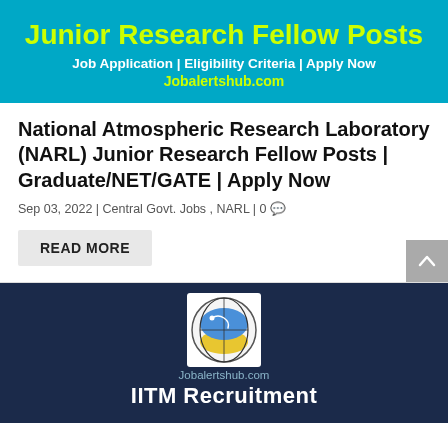[Figure (infographic): Cyan/teal banner with title 'Junior Research Fellow Posts', subtitle 'Job Application | Eligibility Criteria | Apply Now', and website URL 'Jobalertshub.com' in lime yellow text]
National Atmospheric Research Laboratory (NARL) Junior Research Fellow Posts | Graduate/NET/GATE | Apply Now
Sep 03, 2022 | Central Govt. Jobs , NARL | 0 💬
READ MORE
[Figure (infographic): Dark navy blue banner showing IITM logo (circular emblem with yellow and blue design on white background) and text 'Jobalertshub.com' above 'IITM Recruitment' in white bold text]